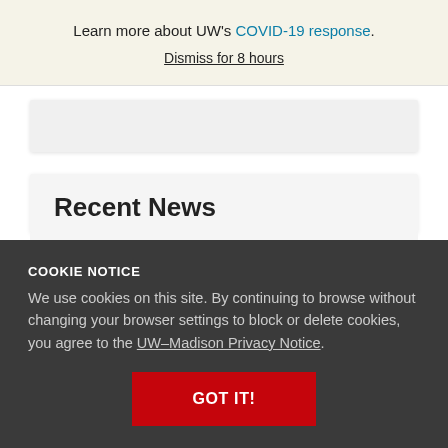Learn more about UW's COVID-19 response. Dismiss for 8 hours
Recent News
COOKIE NOTICE
We use cookies on this site. By continuing to browse without changing your browser settings to block or delete cookies, you agree to the UW–Madison Privacy Notice.
GOT IT!